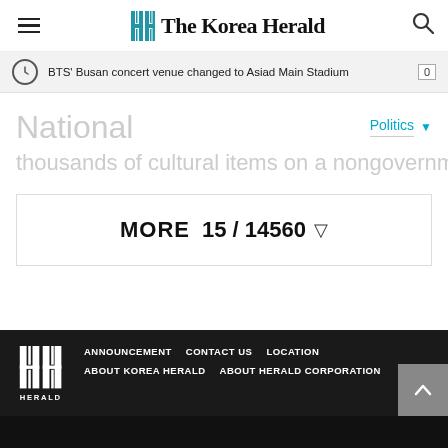The Korea Herald
BTS' Busan concert venue changed to Asiad Main Stadium
National
Politics
thousands of cultural items on a nongovernmental le…
MORE  15 / 14560
ANNOUNCEMENT  CONTACT US  LOCATION  ABOUT KOREA HERALD  ABOUT HERALD CORPORATION